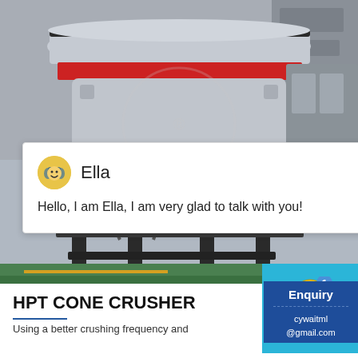[Figure (photo): HPT cone crusher machine photographed in a factory/industrial setting, showing the large industrial crusher with a red band around the top body, white/grey metal components, hydraulic cylinders, and a black steel frame base on a green factory floor.]
Ella
Hello, I am Ella, I am very glad to talk with you!
HPT CONE CRUSHER
Using a better crushing frequency and...
Enquiry
cywaitml@gmail.com
Click me to chat >>
1